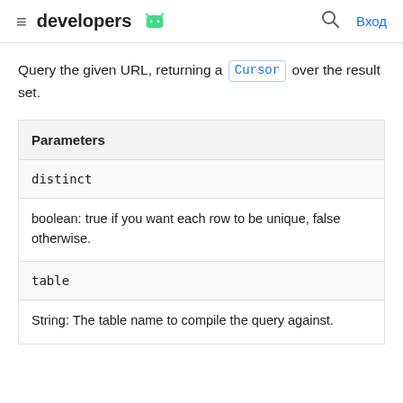≡ developers [android logo] 🔍 Вход
Query the given URL, returning a Cursor over the result set.
| Parameters |
| --- |
| distinct | boolean: true if you want each row to be unique, false otherwise. |
| table | String: The table name to compile the query against. |